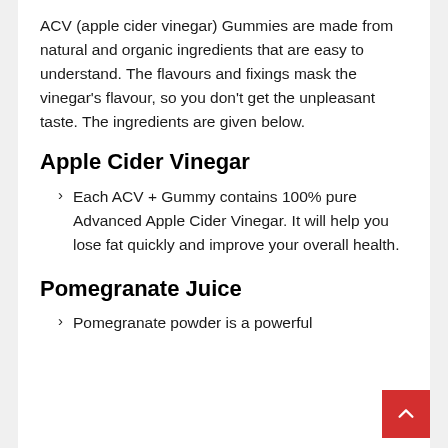ACV (apple cider vinegar) Gummies are made from natural and organic ingredients that are easy to understand. The flavours and fixings mask the vinegar's flavour, so you don't get the unpleasant taste. The ingredients are given below.
Apple Cider Vinegar
Each ACV + Gummy contains 100% pure Advanced Apple Cider Vinegar. It will help you lose fat quickly and improve your overall health.
Pomegranate Juice
Pomegranate powder is a powerful